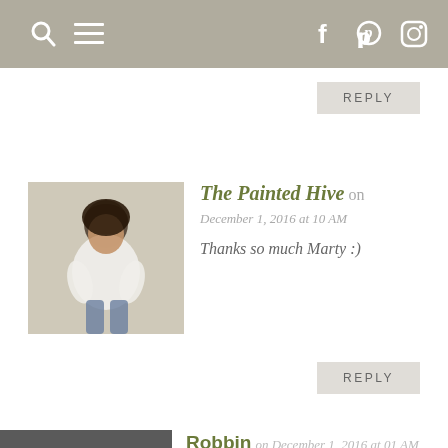Navigation bar with search, menu, and social icons (Facebook, Pinterest, Instagram)
REPLY
[Figure (photo): Profile photo of The Painted Hive author - woman in white shirt seated]
The Painted Hive on December 1, 2016 at 10 AM
Thanks so much Marty :)
REPLY
[Figure (photo): Profile photo of Robbin - woman with dark hair smiling]
Robbin on December 1, 2016 at 01 AM
Unbelievable!!!! Hard to believe the “room” is still the same. It looks incredible. Hooray!!!!
REPLY